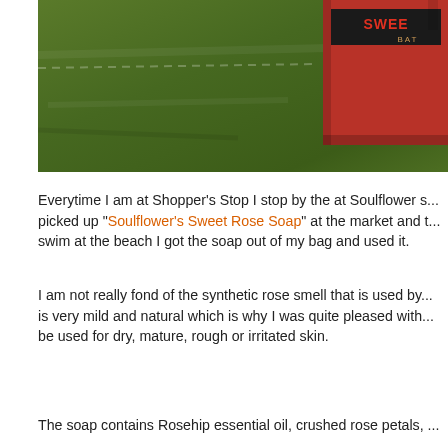[Figure (photo): Photo of a red soap box packaging with 'SWEET' text in red on a black label and 'BAT' text partially visible in orange/gold, placed on green grass background.]
Everytime I am at Shopper's Stop I stop by the at Soulflower s... picked up "Soulflower's Sweet Rose Soap" at the market and t... swim at the beach I got the soap out of my bag and used it.
I am not really fond of the synthetic rose smell that is used by... is very mild and natural which is why I was quite pleased with... be used for dry, mature, rough or irritated skin.
The soap contains Rosehip essential oil, crushed rose petals, ...